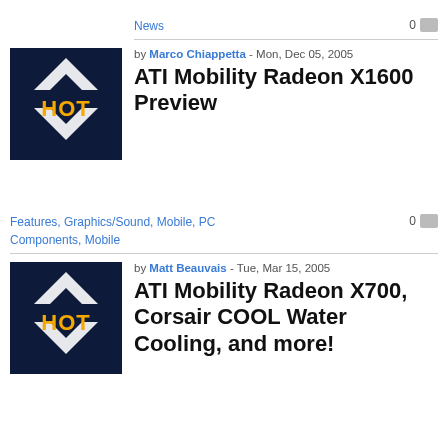News
[Figure (logo): HOT Hardware logo — dark blue background with white chevron arrows and orange HOT text]
by Marco Chiappetta - Mon, Dec 05, 2005
ATI Mobility Radeon X1600 Preview
Features, Graphics/Sound, Mobile, PC Components, Mobile
[Figure (logo): HOT Hardware logo — dark blue background with white chevron arrows and orange HOT text]
by Matt Beauvais - Tue, Mar 15, 2005
ATI Mobility Radeon X700, Corsair COOL Water Cooling, and more!